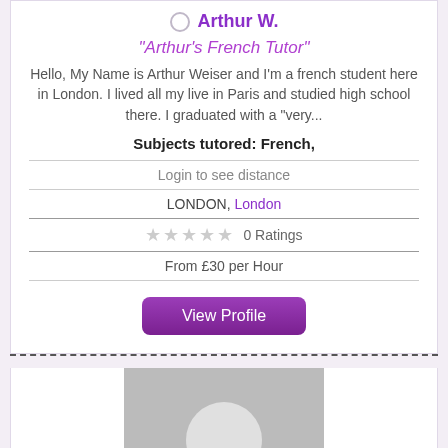Arthur W.
"Arthur's French Tutor"
Hello, My Name is Arthur Weiser and I'm a french student here in London. I lived all my live in Paris and studied high school there. I graduated with a "very...
Subjects tutored: French,
Login to see distance
LONDON, London
0 Ratings
From £30 per Hour
View Profile
[Figure (illustration): Default avatar placeholder: grey rectangle with a white silhouette of a person (head and shoulders)]
Ashraf I.